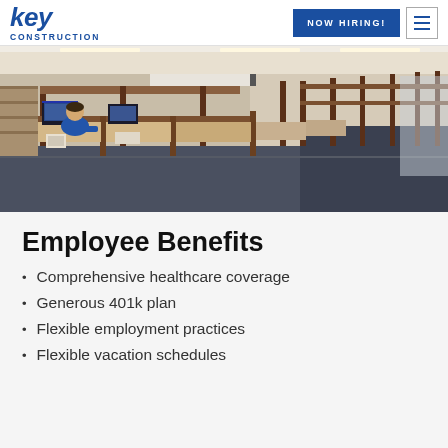Key Construction — NOW HIRING!
[Figure (photo): Office interior with cubicles and a person working at a computer workstation]
Employee Benefits
Comprehensive healthcare coverage
Generous 401k plan
Flexible employment practices
Flexible vacation schedules